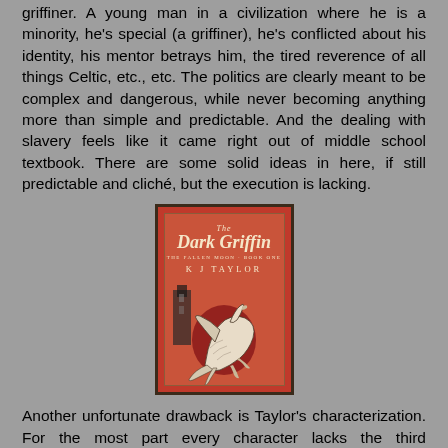griffiner. A young man in a civilization where he is a minority, he's special (a griffiner), he's conflicted about his identity, his mentor betrays him, the tired reverence of all things Celtic, etc., etc. The politics are clearly meant to be complex and dangerous, while never becoming anything more than simple and predictable. And the dealing with slavery feels like it came right out of middle school textbook. There are some solid ideas in here, if still predictable and cliché, but the execution is lacking.
[Figure (photo): Book cover of 'The Dark Griffin' by K.J. Taylor — red background with a griffin illustration and decorative border]
Another unfortunate drawback is Taylor's characterization. For the most part every character lacks the third dimension that it takes to develop a real connection with a reader. Arren is decently well-done, but as I get at above, he's terrible cliché. The griffin fails to be even a slightly believable creature.